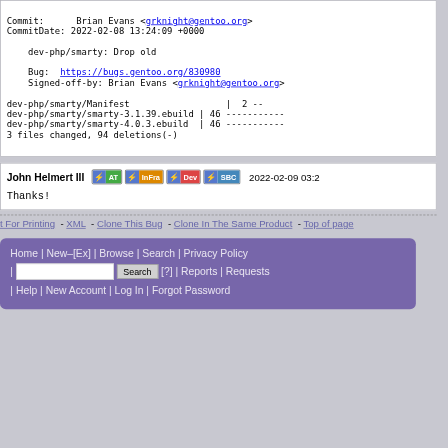Commit:    Brian Evans <grknight@gentoo.org>
CommitDate: 2022-02-08 13:24:09 +0000

    dev-php/smarty: Drop old

    Bug:  https://bugs.gentoo.org/830980
    Signed-off-by: Brian Evans <grknight@gentoo.org>

dev-php/smarty/Manifest                  |  2 --
dev-php/smarty/smarty-3.1.39.ebuild | 46 -----------
dev-php/smarty/smarty-4.0.3.ebuild  | 46 -----------
3 files changed, 94 deletions(-)
John Helmert III  [AT] [InFra] [Dev] [SBC]  2022-02-09 03:2

Thanks!
t For Printing - XML - Clone This Bug - Clone In The Same Product - Top of page
Home | New–[Ex] | Browse | Search | Privacy Policy
| [Search box] Search [?] | Reports | Requests
| Help | New Account | Log In | Forgot Password